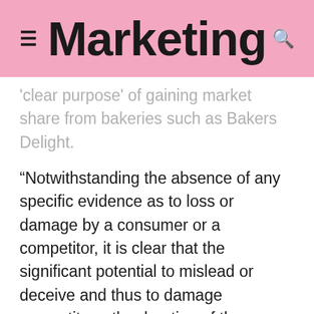Marketing
'clear purpose' of gaining market share from bakeries such as Bakers Delight.
“Notwithstanding the absence of any specific evidence as to loss or damage by a consumer or a competitor, it is clear that the significant potential to mislead or deceive and thus to damage competitors, the duration of the conduct, and the fact that the goods in relation to which the impugned phrases were used were ‘consumer staples’ indicate that the objective seriousness of the offending conduct was considerable”.
Sims said the penalty would send a strong message